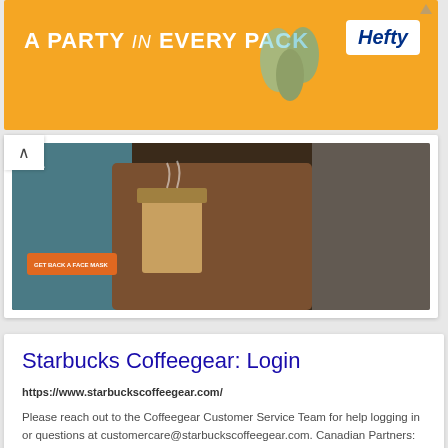[Figure (screenshot): Hefty advertisement banner with orange background. Text reads 'A PARTY in EVERY PACK' with Hefty logo on right.]
[Figure (screenshot): Partial webpage screenshot showing coffee-related imagery with an orange button and back arrow navigation.]
Starbucks Coffeegear: Login
https://www.starbuckscoffeegear.com/
Please reach out to the Coffeegear Customer Service Team for help logging in or questions at customercare@starbuckscoffeegear.com. Canadian Partners: Please ...
[Figure (screenshot): Screenshot of Starbucks Coffeegear website showing navigation bar with logo, menu items (New, All, Apparel, Accessories, Sale), and login page with Partner Login and Licensed Store Login sections.]